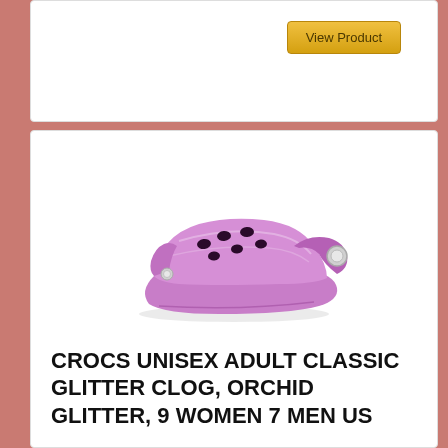[Figure (other): View Product button - gold/yellow rounded rectangle button with dark text]
[Figure (photo): Purple/orchid glitter Crocs classic clog shoe, side view showing holes and strap, on white background]
CROCS UNISEX ADULT CLASSIC GLITTER CLOG, ORCHID GLITTER, 9 WOMEN 7 MEN US